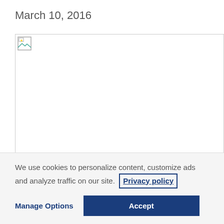March 10, 2016
[Figure (photo): Broken/placeholder image icon with a border]
We use cookies to personalize content, customize ads and analyze traffic on our site. Privacy policy
Manage Options
Accept